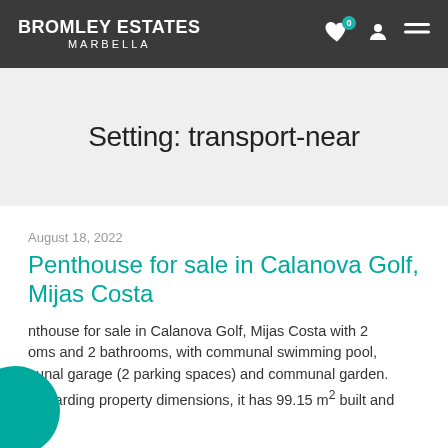BROMLEY ESTATES MARBELLA
Setting: transport-near
August 18, 2022
Penthouse for sale in Calanova Golf, Mijas Costa
Penthouse for sale in Calanova Golf, Mijas Costa with 2 rooms and 2 bathrooms, with communal swimming pool, communal garage (2 parking spaces) and communal garden. Regarding property dimensions, it has 99.15 m² built and